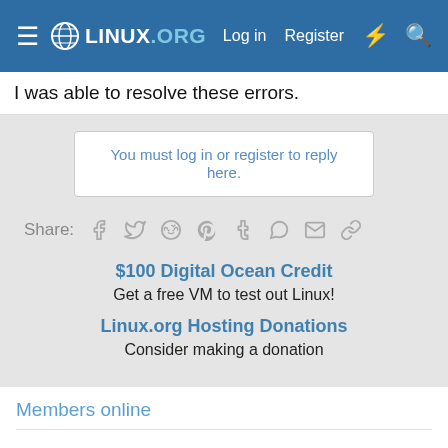LINUX.ORG | Log in | Register
I was able to resolve these errors.
You must log in or register to reply here.
Share: [facebook] [twitter] [reddit] [pinterest] [tumblr] [whatsapp] [email] [link]
$100 Digital Ocean Credit
Get a free VM to test out Linux!
Linux.org Hosting Donations
Consider making a donation
Members online
bob466, TheProf, CrazedNerd
Total: 345 (members: 3, guests: 342)